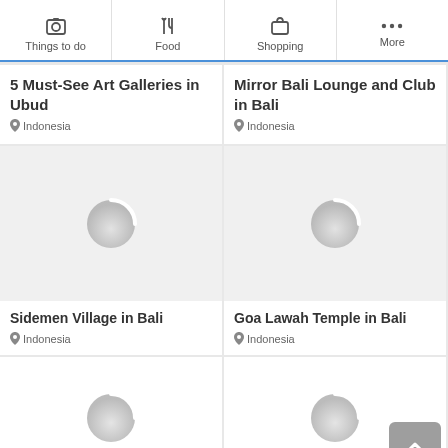[Figure (screenshot): Mobile app navigation bar with icons: Things to do (camera), Food (fork/knife), Shopping (bag), More (three dots)]
5 Must-See Art Galleries in Ubud
Indonesia
Mirror Bali Lounge and Club in Bali
Indonesia
[Figure (photo): Loading spinner placeholder for Sidemen Village in Bali]
Sidemen Village in Bali
Indonesia
[Figure (photo): Loading spinner placeholder for Goa Lawah Temple in Bali]
Goa Lawah Temple in Bali
Indonesia
[Figure (photo): Loading spinner placeholder, bottom left card]
[Figure (photo): Loading spinner placeholder, bottom right card]